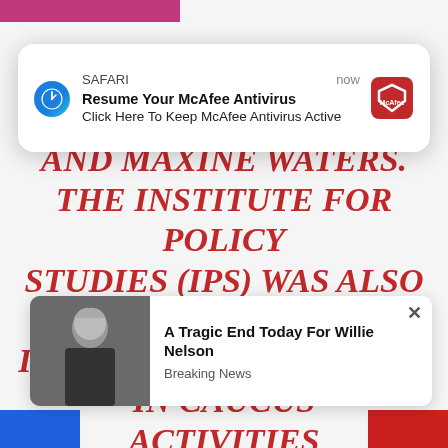[Figure (screenshot): Screenshot of a webpage overlaid with browser popups. Background shows large red italic bold article text about Andrews, Peter DeFazio, and Maxine Waters, and the Institute for Policy Studies (IPS). A Safari browser notification popup appears at top promoting McAfee Antivirus. A news popup at the bottom advertises 'A Tragic End Today For Willie Nelson' with Breaking News label.]